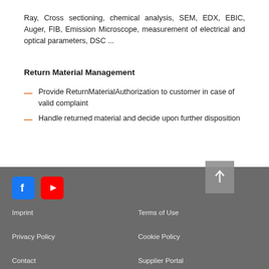Ray, Cross sectioning, chemical analysis, SEM, EDX, EBIC, Auger, FIB, Emission Microscope, measurement of electrical and optical parameters, DSC ...
Return Material Management
Provide ReturnMaterialAuthorization to customer in case of valid complaint
Handle returned material and decide upon further disposition
Imprint | Privacy Policy | Contact | Terms of Use | Cookie Policy | Supplier Portal